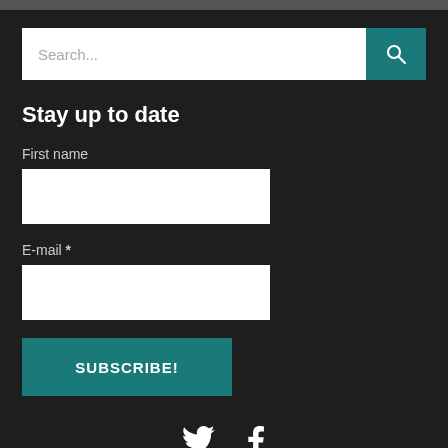Search...
Stay up to date
First name
E-mail *
SUBSCRIBE!
[Figure (illustration): Twitter bird icon and Facebook f icon social media links]